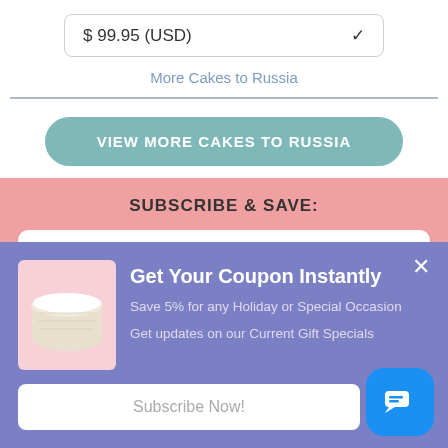$ 99.95 (USD)
More Cakes to Russia
VIEW MORE CAKES TO RUSSIA
SUBSCRIBE & SAVE:
Your Email Address
Get Your Coupon Instantly
Save 5% for any Holiday or Special Occasion
Get updates on our Current Gift Specials
Subscribe Now!